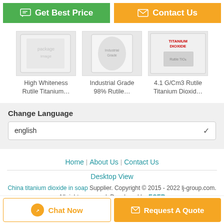[Figure (screenshot): Two call-to-action buttons: green 'Get Best Price' and orange 'Contact Us']
[Figure (photo): Three product images: High Whiteness Rutile Titanium, Industrial Grade 98% Rutile, 4.1 G/Cm3 Rutile Titanium Dioxide]
High Whiteness Rutile Titanium…
Industrial Grade 98% Rutile…
4.1 G/Cm3 Rutile Titanium Dioxid…
Change Language
english
Home | About Us | Contact Us
Desktop View
China titanium dioxide in soap Supplier. Copyright © 2015 - 2022 lj-group.com. All rights reserved. Developed by ECER
[Figure (screenshot): Bottom buttons: Chat Now and Request A Quote]